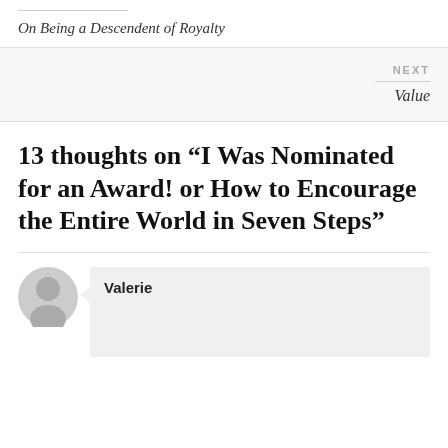On Being a Descendent of Royalty
NEXT
Value
13 thoughts on “I Was Nominated for an Award! or How to Encourage the Entire World in Seven Steps”
Valerie